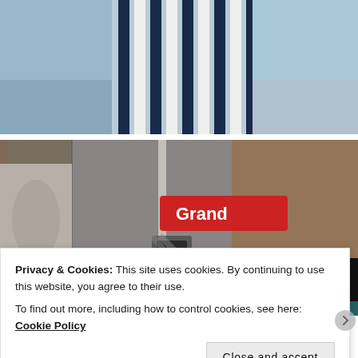[Figure (photo): Top photo: striped navy and white fabric/cup on a blue textured surface, shot from above]
[Figure (photo): Street scene photo: Grand Street sign (red background, white text) and ONE WAY arrow sign, with blurred building scaffolding and tarp in background]
Privacy & Cookies: This site uses cookies. By continuing to use this website, you agree to their use.
To find out more, including how to control cookies, see here: Cookie Policy
Close and accept